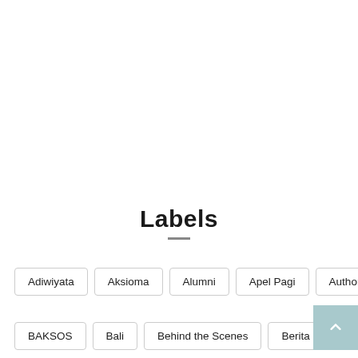Labels
Adiwiyata
Aksioma
Alumni
Apel Pagi
Authority
BAKSOS
Bali
Behind the Scenes
Berita
BinPres